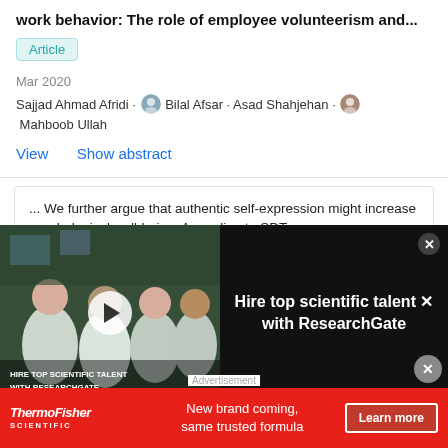work behavior: The role of employee volunteerism and...
Article
Mar 2020
Sajjad Ahmad Afridi · Bilal Afsar · Asad Shahjehan · Mahboob Ullah
View   Show abstract
... We further argue that authentic self-expression might increase psychological well-being. According to SDT...
one's self. ...
... For example, a laboratory experiment by Cable et al.
[Figure (screenshot): Video ad overlay showing scientists in lab with play button and 'Hire top scientific talent with ResearchGate' text]
Advertisement
[Figure (photo): ThermoFisher Scientific banner ad: 'New brand coming, same trusted formula' with Learn more button]